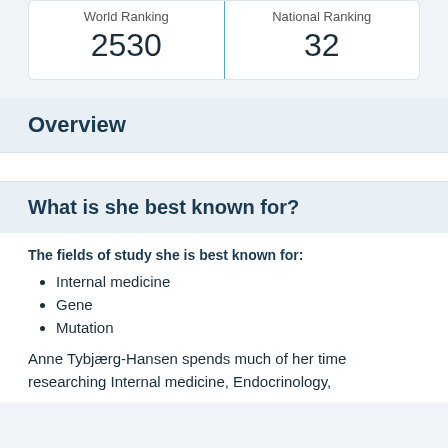| World Ranking | National Ranking |
| --- | --- |
| 2530 | 32 |
Overview
What is she best known for?
The fields of study she is best known for:
Internal medicine
Gene
Mutation
Anne Tybjærg-Hansen spends much of her time researching Internal medicine, Endocrinology,